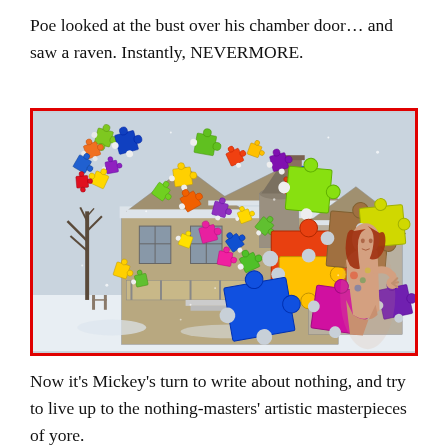Poe looked at the bust over his chamber door… and saw a raven. Instantly, NEVERMORE.
[Figure (illustration): A snowy Victorian house scene with colorful puzzle pieces scattered/floating in the air, and a female figure on the right side interacting with the puzzle pieces.]
Now it's Mickey's turn to write about nothing, and try to live up to the nothing-masters' artistic masterpieces of yore.